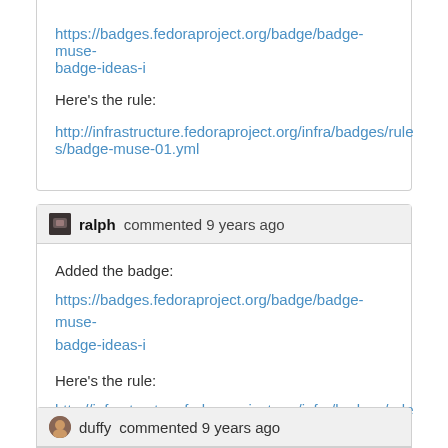https://badges.fedoraproject.org/badge/badge-muse-badge-ideas-i
Here's the rule:
http://infrastructure.fedoraproject.org/infra/badges/rules/badge-muse-01.yml
ralph commented 9 years ago
Added the badge:
https://badges.fedoraproject.org/badge/badge-muse-badge-ideas-i

Here's the rule:
http://infrastructure.fedoraproject.org/infra/badges/rules/badge-muse-01.yml
duffy commented 9 years ago